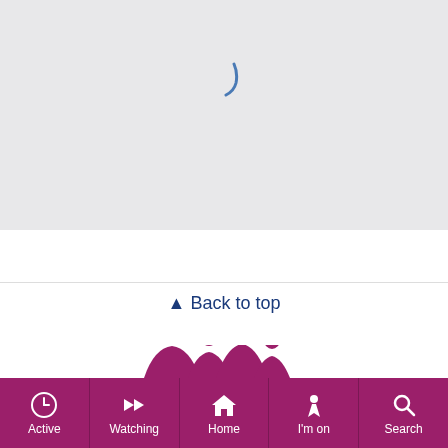ADVERTISEMENT
[Figure (screenshot): Loading spinner partial arc in blue on light grey background]
Back to top
[Figure (illustration): Silhouette of a family group (adults and children) in dark magenta/purple]
Active | Watching | Home | I'm on | Search